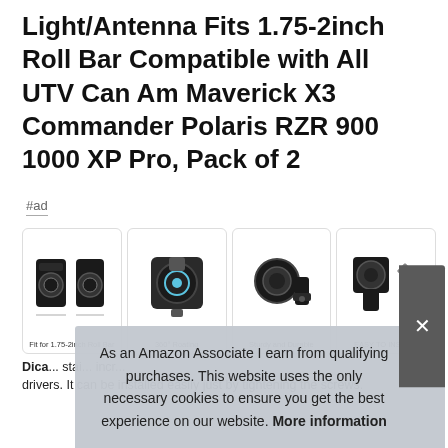Light/Antenna Fits 1.75-2inch Roll Bar Compatible with All UTV Can Am Maverick X3 Commander Polaris RZR 900 1000 XP Pro, Pack of 2
#ad
[Figure (photo): Four product image thumbnails showing: 1) Fit for 1.75-2inch Roll Bar - mounting clamp diagram, 2) 360° Roating - rotating bracket photo, 3) Sturdy and Durable - clamp close-up, 4) EASY TO INSTALL - bracket with hex key]
Dica... stai... incr... drivers. It can be installed easily just by tightening the screws.
As an Amazon Associate I earn from qualifying purchases. This website uses the only necessary cookies to ensure you get the best experience on our website. More information